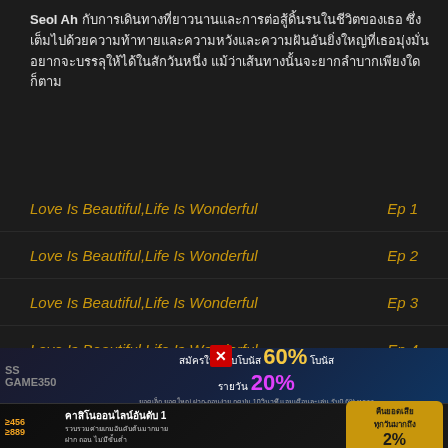Seol Ah กับการเดินทางที่ยาวนานและการต่อสู้ดิ้นรนในชีวิตของเธอ ซึ่งเต็มไปด้วยความท้าทายและความหวัง
Love Is Beautiful,Life Is Wonderful  Ep 1
Love Is Beautiful,Life Is Wonderful  Ep 2
Love Is Beautiful,Life Is Wonderful  Ep 3
Love Is Beautiful,Life Is Wonderful  Ep 4
Love Is Beautiful,Life Is Wonderful  Ep 5
Love Is Beautiful,Life Is Wonderful  Ep 6
Love Is Beautiful,Life Is Wonderful  Ep 7
[Figure (other): Advertisement banner: SS Game 350 - สมัครใหม่รับโบนัส 60% โบนัสรายวัน 20%]
[Figure (other): Advertisement banner: Casino online number 1 - คืนยอดเสียทุกวันมากถึง 2%]